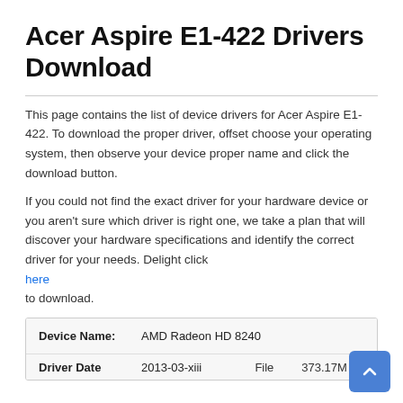Acer Aspire E1-422 Drivers Download
This page contains the list of device drivers for Acer Aspire E1-422. To download the proper driver, offset choose your operating system, then observe your device proper name and click the download button.
If you could not find the exact driver for your hardware device or you aren’t sure which driver is right one, we take a plan that will discover your hardware specifications and identify the correct driver for your needs. Delight click here to download.
| Device Name: | AMD Radeon HD 8240 |  |  |
| --- | --- | --- | --- |
| Driver Date | 2013-03-xiii | File | 373.17M |